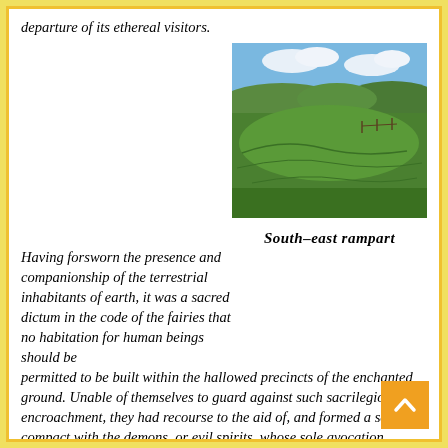departure of its ethereal visitors.
Having forsworn the presence and companionship of the terrestrial inhabitants of earth, it was a sacred dictum in the code of the fairies that no habitation for human beings should be permitted to be built within the hallowed precincts of the enchanted ground. Unable of themselves to guard against such sacrilegious encroachment, they had recourse to the aid of, and formed a secret compact with the demons, or evil spirits, whose sole avocation consisted in doing mischief, and bringing trouble and misfortune on those under the ban of their displeasure. By this compact these evil spirits became solemnly bound to prevent any
[Figure (photo): Photograph of a green grassy hillside rampart under a partly cloudy sky — south-east rampart of a hill fort or earthwork.]
South–east rampart